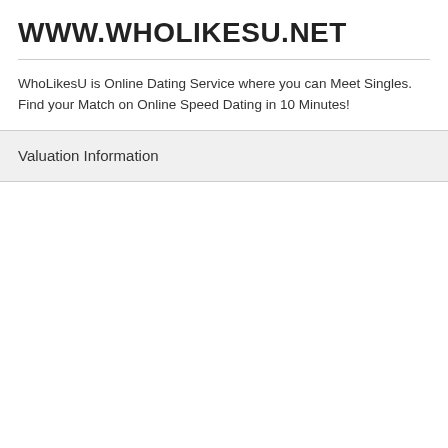WWW.WHOLIKESU.NET
WhoLikesU is Online Dating Service where you can Meet Singles. Find your Match on Online Speed Dating in 10 Minutes!
Valuation Information